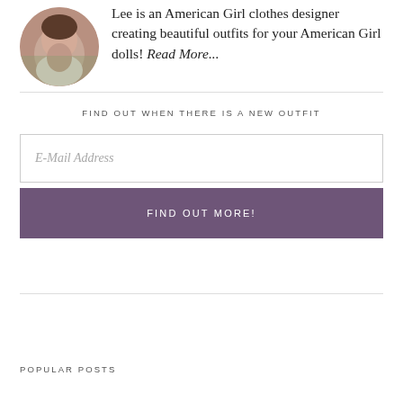[Figure (photo): Circular portrait photo of a woman]
Lee is an American Girl clothes designer creating beautiful outfits for your American Girl dolls! Read More...
FIND OUT WHEN THERE IS A NEW OUTFIT
E-Mail Address
FIND OUT MORE!
POPULAR POSTS